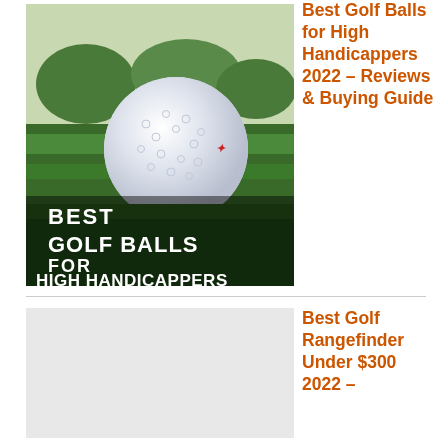[Figure (photo): Photo of a white golf ball resting on green grass with text overlay reading 'BEST GOLF BALLS FOR HIGH HANDICAPPERS']
Best Golf Balls for High Handicappers 2022 – Reviews & Buying Guide
[Figure (photo): Placeholder image area for Best Golf Rangefinder article]
Best Golf Rangefinder Under $300 2022 –